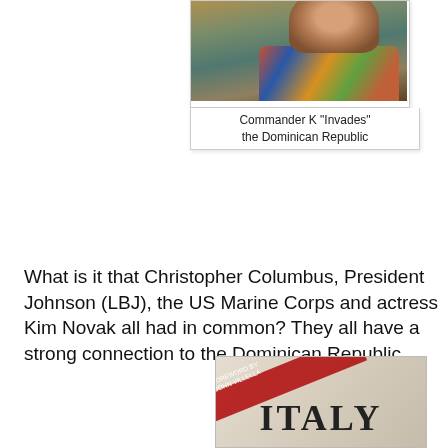[Figure (photo): Photo of a man in a colorful floral shirt with a painting of musicians in the background]
Commander K "Invades"
the Dominican Republic
What is it that Christopher Columbus, President Johnson (LBJ), the US Marine Corps and actress Kim Novak all had in common?  They all have a strong connection to the Dominican Republic.
Columbus, LBJ and the US Marines all invaded The Dominican Republic.  And as for Kim Novak's surprising connection to the Caribbean island -- read on...
[Figure (photo): Book cover showing the word ITALY with a red diagonal stripe and a map background]